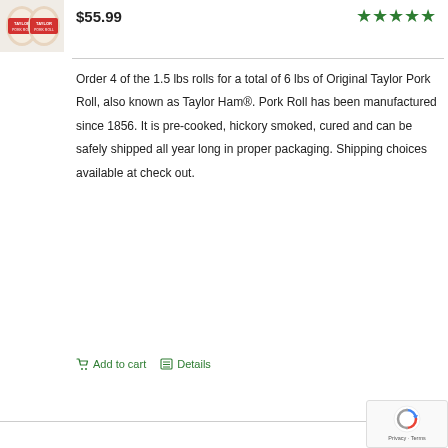[Figure (photo): Product photo of Taylor Pork Roll packages with red and white labeling]
$55.99
[Figure (other): Five green stars rating]
Order 4 of the 1.5 lbs rolls for a total of 6 lbs of Original Taylor Pork Roll, also known as Taylor Ham®. Pork Roll has been manufactured since 1856. It is pre-cooked, hickory smoked, cured and can be safely shipped all year long in proper packaging. Shipping choices available at check out.
Add to cart
Details